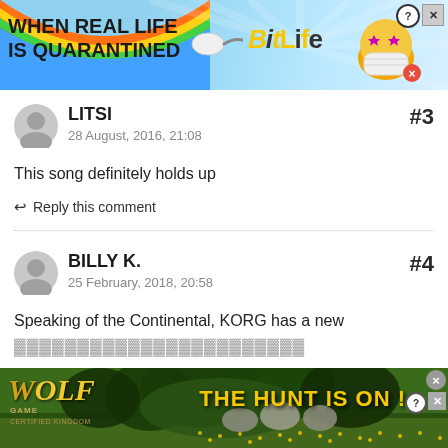[Figure (screenshot): BitLife advertisement banner with rainbow gradient on left, text 'WHEN REAL LIFE IS QUARANTINED', BitLife logo, star character with mask]
LITSI
28 August, 2016, 21:08
This song definitely holds up
↩ Reply this comment
BILLY K.
25 February, 2018, 20:58
Speaking of the Continental, KORG has a new
[Figure (screenshot): Wolf Game advertisement banner with wolves and 'THE HUNT IS ON!' text on green background]